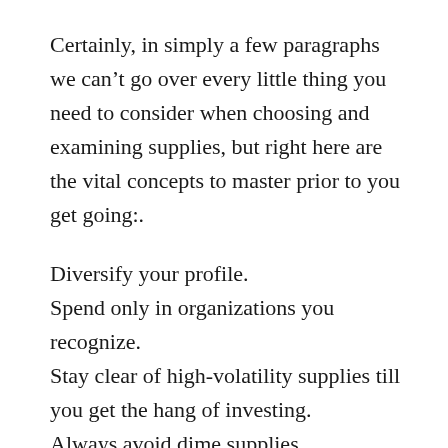Certainly, in simply a few paragraphs we can't go over every little thing you need to consider when choosing and examining supplies, but right here are the vital concepts to master prior to you get going:.
Diversify your profile.
Spend only in organizations you recognize.
Stay clear of high-volatility supplies till you get the hang of investing.
Always avoid dime supplies.
Discover the fundamental metrics and also principles for assessing stocks.
It’s a great idea to learn the principle of diversity, suggesting that you ought to have a variety of different kinds of companies in your portfolio. Nevertheless, I